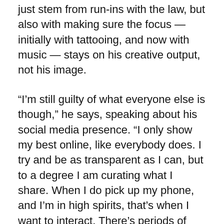just stem from run-ins with the law, but also with making sure the focus — initially with tattooing, and now with music — stays on his creative output, not his image.
“I’m still guilty of what everyone else is though,” he says, speaking about his social media presence. “I only show my best online, like everybody does. I try and be as transparent as I can, but to a degree I am curating what I share. When I do pick up my phone, and I’m in high spirits, that’s when I want to interact. There’s periods of silence because when I’m going through shit — I don’t want to share.”
ANONYMITY
In January this year, the MC announced